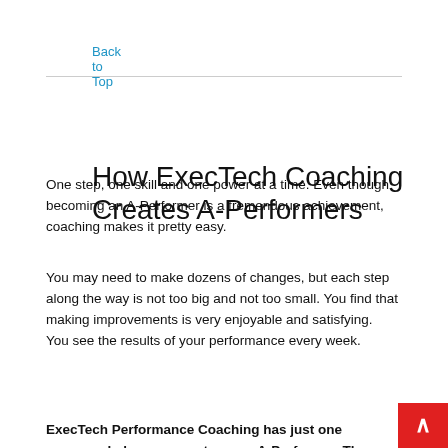Back to Top
How ExecTech Coaching Creates A-Performers
One step, one skill and one power at a time. Even though becoming an A-Performer is a tremendous achievement, coaching makes it pretty easy.
You may need to make dozens of changes, but each step along the way is not too big and not too small. You find that making improvements is very enjoyable and satisfying. You see the results of your performance every week.
ExecTech’s Step-by-Step System
ExecTech Performance Coaching has just one purpose: help you operate as an A-Performer. The